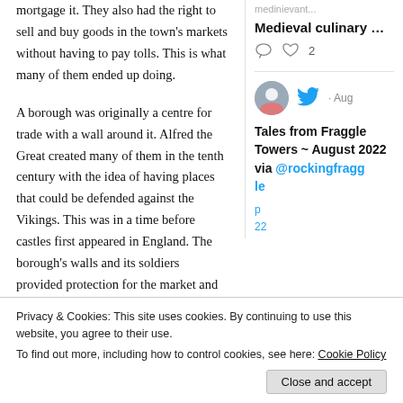mortgage it. They also had the right to sell and buy goods in the town's markets without having to pay tolls. This is what many of them ended up doing.
A borough was originally a centre for trade with a wall around it. Alfred the Great created many of them in the tenth century with the idea of having places that could be defended against the Vikings. This was in a time before castles first appeared in England. The borough's walls and its soldiers provided protection for the market and its inhabitants.
In the twelfth and thirteenth centuries lords of the
Medieval culinary …
Tales from Fraggle Towers ~ August 2022 via @rockingfraggle
Privacy & Cookies: This site uses cookies. By continuing to use this website, you agree to their use.
To find out more, including how to control cookies, see here: Cookie Policy